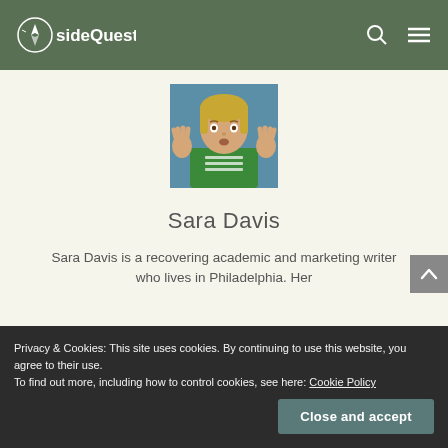sideQuest
[Figure (illustration): Cartoon avatar of Sara Davis, a blonde woman in a green t-shirt with hands raised, on a blue background]
Sara Davis
Sara Davis is a recovering academic and marketing writer who lives in Philadelphia. Her
Privacy & Cookies: This site uses cookies. By continuing to use this website, you agree to their use.
To find out more, including how to control cookies, see here: Cookie Policy
Close and accept